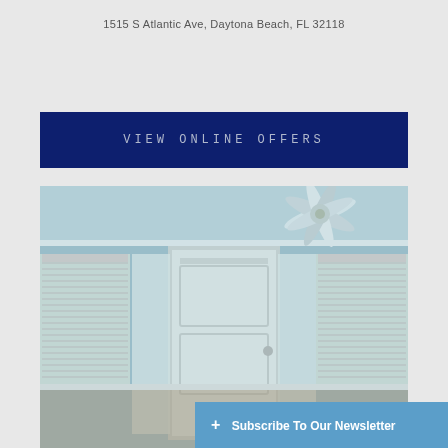1515 S Atlantic Ave, Daytona Beach, FL 32118
VIEW ONLINE OFFERS
[Figure (photo): Interior room photo showing light blue walls, ceiling fan, white door with sidelights and windows with blinds]
+ Subscribe To Our Newsletter